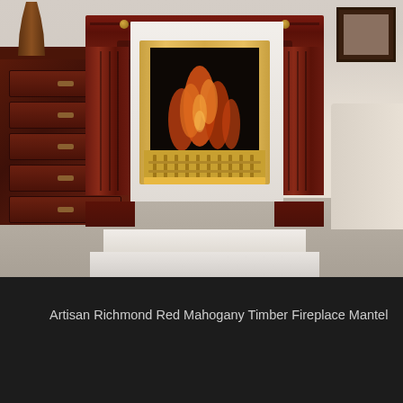[Figure (photo): A red mahogany timber fireplace mantel (Artisan Richmond) in a living room setting, with an ornate dark wood surround featuring fluted pillars and corbels, a brass fire insert with flames, white marble hearth, and a dark wooden chest of drawers to the left.]
Artisan Richmond Red Mahogany Timber Fireplace Mantel